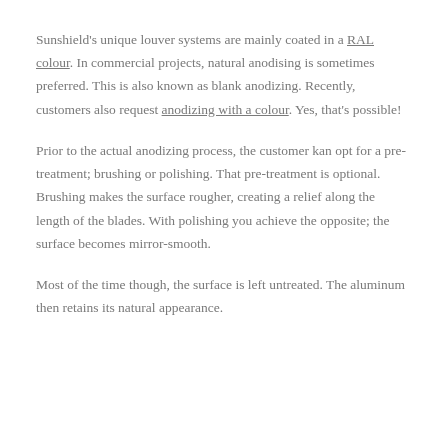Sunshield's unique louver systems are mainly coated in a RAL colour. In commercial projects, natural anodising is sometimes preferred. This is also known as blank anodizing. Recently, customers also request anodizing with a colour. Yes, that's possible!
Prior to the actual anodizing process, the customer kan opt for a pre-treatment; brushing or polishing. That pre-treatment is optional. Brushing makes the surface rougher, creating a relief along the length of the blades. With polishing you achieve the opposite; the surface becomes mirror-smooth.
Most of the time though, the surface is left untreated. The aluminum then retains its natural appearance.